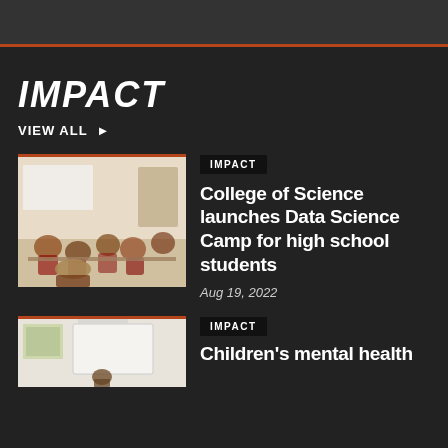IMPACT
VIEW ALL ▶
[Figure (photo): Students sitting in a classroom during a data science camp session]
IMPACT
College of Science launches Data Science Camp for high school students
Aug 19, 2022
[Figure (photo): Classroom or educational setting with a projector screen]
IMPACT
Children's mental health